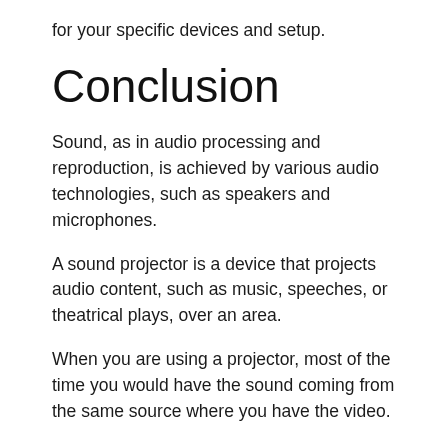for your specific devices and setup.
Conclusion
Sound, as in audio processing and reproduction, is achieved by various audio technologies, such as speakers and microphones.
A sound projector is a device that projects audio content, such as music, speeches, or theatrical plays, over an area.
When you are using a projector, most of the time you would have the sound coming from the same source where you have the video.